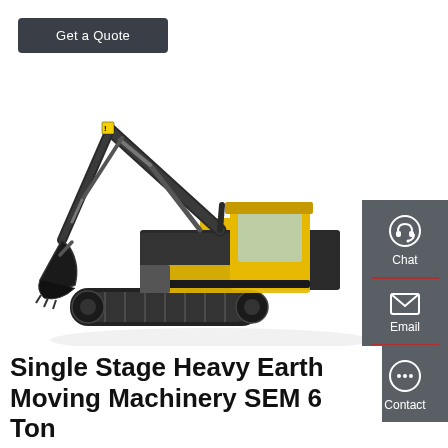Get a Quote
[Figure (photo): A Volvo crawler excavator with yellow cab and black arm, positioned on white background, shown from the side.]
Chat
Email
Contact
Single Stage Heavy Earth Moving Machinery SEM 6 Ton